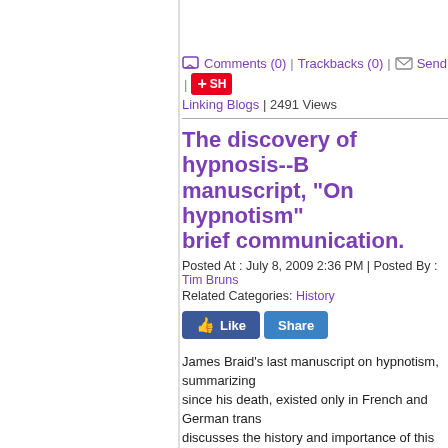Comments (0) | Trackbacks (0) | Send | SH... Linking Blogs | 2491 Views
The discovery of hypnosis--B... manuscript, "On hypnotism"... brief communication.
Posted At : July 8, 2009 2:36 PM | Posted By : Tim Bruns...
Related Categories: History
[Figure (other): Like and Share buttons (Facebook social buttons)]
James Braid's last manuscript on hypnotism, summarizing... since his death, existed only in French and German trans... discusses the history and importance of this document, "O... well as his new English version, translated back from the ... editions. Braid's manuscript constitutes an important, miss... early history of psychological therapy and helps to explain... and correct certain historical misconceptions that have de... meaning of the term hypnotism. The rediscovery of this te... evidence that hypnotism originated as an explicitly empiri... reaction against the pseudo-scientific excesses of mesme... heavily on excerpts from his previous writings, some of Br... techniques may renew interest among contemporary rese...
Int J Clin Exp Hypn. 2009 Apr;57(2):127-32. Robertson D... HypnoSynthesisUK@aol.com